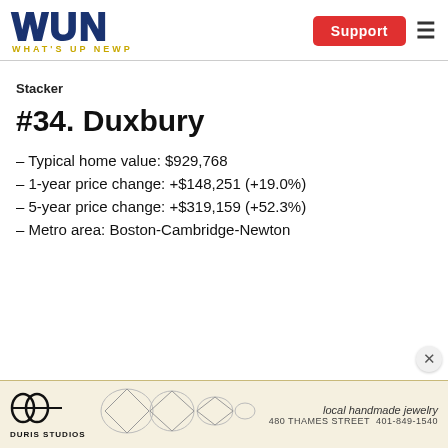WUN WHAT'S UP NEWP | Support
Stacker
#34. Duxbury
– Typical home value: $929,768
– 1-year price change: +$148,251 (+19.0%)
– 5-year price change: +$319,159 (+52.3%)
– Metro area: Boston-Cambridge-Newton
[Figure (logo): Duris Studios advertisement banner with logo, diamond jewelry images, text 'local handmade jewelry', '480 THAMES STREET 401-849-1540']